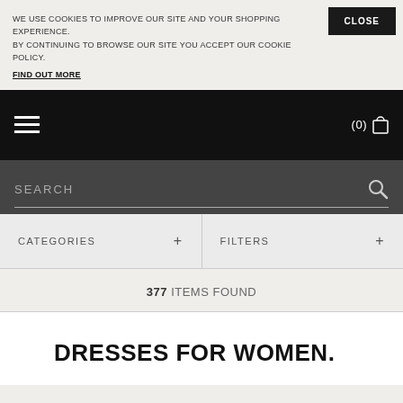WE USE COOKIES TO IMPROVE OUR SITE AND YOUR SHOPPING EXPERIENCE. BY CONTINUING TO BROWSE OUR SITE YOU ACCEPT OUR COOKIE POLICY.
FIND OUT MORE
CLOSE
(0)
SEARCH
CATEGORIES +
FILTERS +
377 ITEMS FOUND
DRESSES FOR WOMEN.